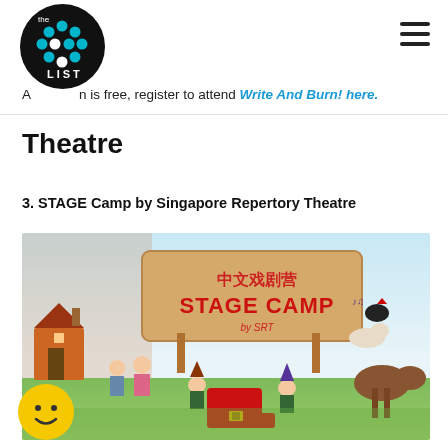Admission is free, register to attend Write And Burn! here.
Theatre
3. STAGE Camp by Singapore Repertory Theatre
[Figure (illustration): STAGE CAMP by SRT promotional banner showing fairy-tale illustrated characters including a boy and girl in folk costumes, gnomes with large boots, a donkey, a dog, a cat, and a rooster on a rural countryside background with a gingerbread house. A wooden sign reads '中文戏剧营 STAGE CAMP by SRT' in red lettering.]